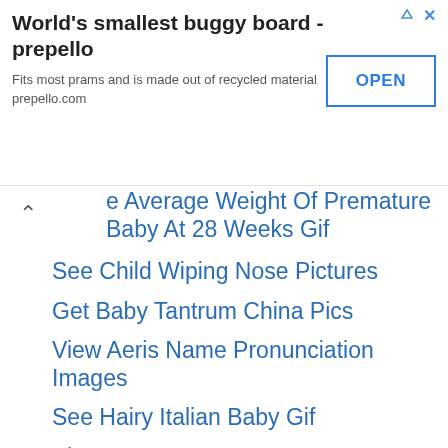[Figure (other): Advertisement banner for 'World's smallest buggy board - prepello' with an OPEN button]
Average Weight Of Premature Baby At 28 Weeks Gif
See Child Wiping Nose Pictures
Get Baby Tantrum China Pics
View Aeris Name Pronunciation Images
See Hairy Italian Baby Gif
View Lvy PNG
See Boys Name Nathan PNG
See Week 26 PNG
View Graco My Ride 65 Installation Images
View Ellie Definition PNG